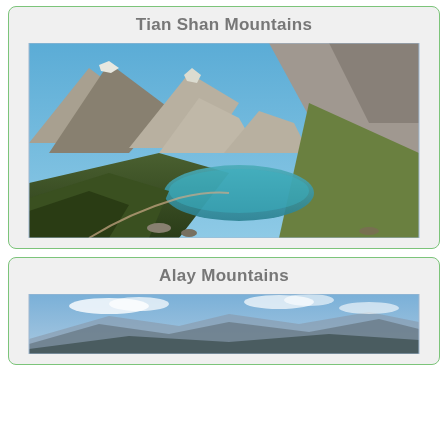Tian Shan Mountains
[Figure (photo): Mountain landscape with a turquoise glacial lake in a valley, surrounded by rocky peaks with snow and green slopes. Tian Shan Mountains.]
Alay Mountains
[Figure (photo): Panoramic view of Alay Mountains with blue sky, white clouds, and layered mountain ridges.]